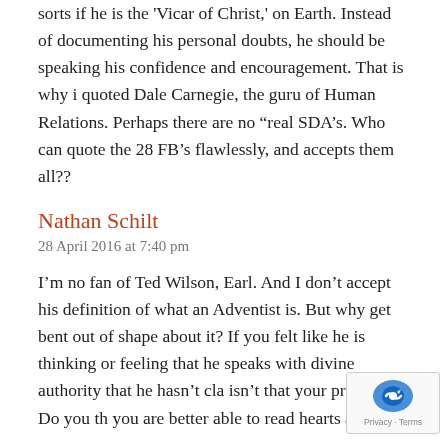sorts if he is the 'Vicar of Christ,' on Earth. Instead of documenting his personal doubts, he should be speaking his confidence and encouragement. That is why i quoted Dale Carnegie, the guru of Human Relations. Perhaps there are no “real SDA’s. Who can quote the 28 FB’s flawlessly, and accepts them all??
Nathan Schilt
28 April 2016 at 7:40 pm
I’m no fan of Ted Wilson, Earl. And I don’t accept his definition of what an Adventist is. But why get bent out of shape about it? If you felt like he is thinking or feeling that he speaks with divine authority that he hasn’t cla isn’t that your problem? Do you th you are better able to read hearts a